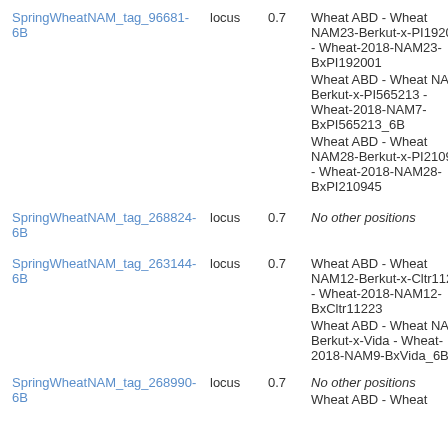SpringWheatNAM_tag_96681-6B | locus | 0.7 | Wheat ABD - Wheat NAM23-Berkut-x-PI192001 - Wheat-2018-NAM23-BxPI192001
Wheat ABD - Wheat NAM7-Berkut-x-PI565213 - Wheat-2018-NAM7-BxPI565213_6B
Wheat ABD - Wheat NAM28-Berkut-x-PI210945 - Wheat-2018-NAM28-BxPI210945
SpringWheatNAM_tag_268824-6B | locus | 0.7 | No other positions
Wheat ABD - Wheat NAM12-Berkut-x-Cltr11223 - Wheat-2018-NAM12-BxCltr11223
SpringWheatNAM_tag_263144-6B | locus | 0.7
Wheat ABD - Wheat NAM9-Berkut-x-Vida - Wheat-2018-NAM9-BxVida_6B
SpringWheatNAM_tag_268990-6B | locus | 0.7 | No other positions
Wheat ABD - Wheat